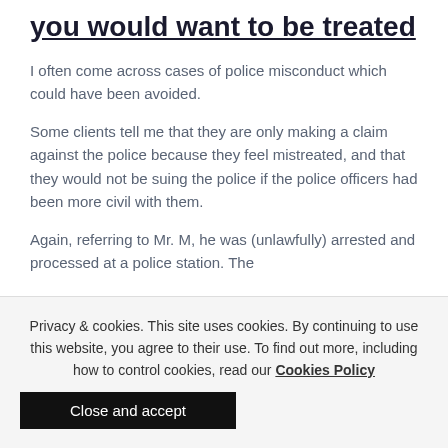you would want to be treated
I often come across cases of police misconduct which could have been avoided.
Some clients tell me that they are only making a claim against the police because they feel mistreated, and that they would not be suing the police if the police officers had been more civil with them.
Again, referring to Mr. M, he was (unlawfully) arrested and processed at a police station. The
Privacy & cookies. This site uses cookies. By continuing to use this website, you agree to their use. To find out more, including how to control cookies, read our Cookies Policy